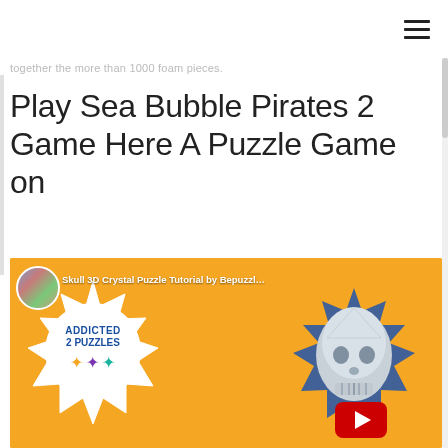together the more than 1000 foam pieces.
Play Sea Bubble Pirates 2 Game Here A Puzzle Game on
[Figure (screenshot): YouTube video thumbnail showing 'Skull 3D Crystal Puzzle Tutorial by Bepuzzle' with Addicted 2 Puzzles channel logo/badge on orange background, a crystal skull image on the right, and a YouTube play button at the bottom center.]